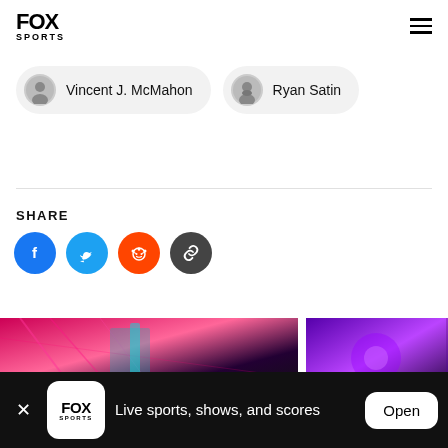FOX SPORTS
Vincent J. McMahon
Ryan Satin
SHARE
[Figure (other): Social share buttons: Facebook, Twitter, Reddit, Link]
[Figure (photo): Two image thumbnails showing wrestling event with pink and purple lighting]
Live sports, shows, and scores
Open